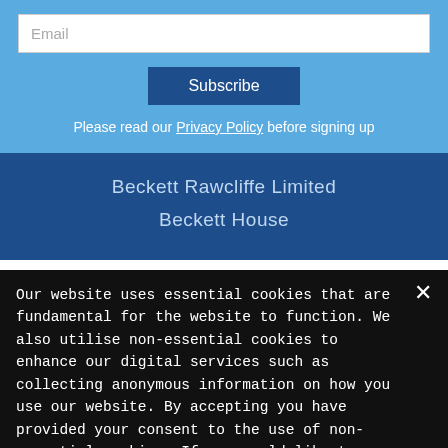Email
Subscribe
Please read our Privacy Policy before signing up
Beckett Rawcliffe Limited
Beckett House
Our website uses essential cookies that are fundamental for the website to function. We also utilise non-essential cookies to enhance our digital services such as collecting anonymous information on how you use our website. By accepting you have provided your consent to the use of non-essential cookies. If you would like to change this, please click on 'Change cookie settings'.
Accept & Close
Change cookie settings